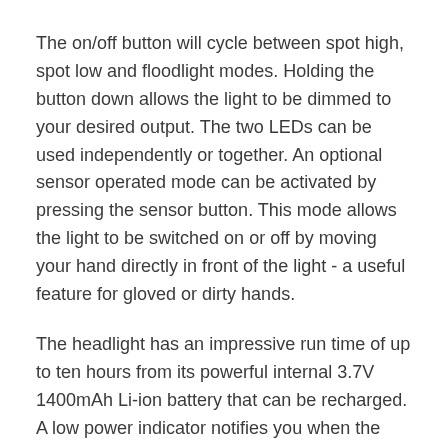The on/off button will cycle between spot high, spot low and floodlight modes. Holding the button down allows the light to be dimmed to your desired output. The two LEDs can be used independently or together. An optional sensor operated mode can be activated by pressing the sensor button. This mode allows the light to be switched on or off by moving your hand directly in front of the light - a useful feature for gloved or dirty hands.
The headlight has an impressive run time of up to ten hours from its powerful internal 3.7V 1400mAh Li-ion battery that can be recharged. A low power indicator notifies you when the light needs recharging.
The light unit can be tilted and is fitted to a head